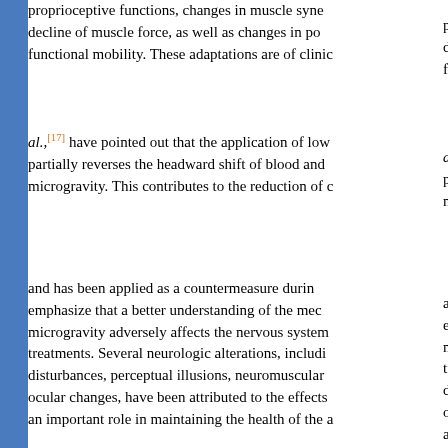proprioceptive functions, changes in muscle synergy, decline of muscle force, as well as changes in postural functional mobility. These adaptations are of clinical...
al.,[17] have pointed out that the application of lower body negative pressure partially reverses the headward shift of blood and fluid redistribution in microgravity. This contributes to the reduction of cardiovascular...
and has been applied as a countermeasure during spaceflight. We emphasize that a better understanding of the mechanisms by which microgravity adversely affects the nervous system is essential for effective treatments. Several neurologic alterations, including spatial disorientation disturbances, perceptual illusions, neuromuscular dysfunction, and neuro-ocular changes, have been attributed to the effects of microgravity and play an important role in maintaining the health of the astronaut upon return...
to the terrestrial environment. Murthy et al.,[19] have also reported increased intracranial pressure (ICP) in humans during...
» Intracranial Hypertension in Outer Sp...
Spaceflight-induced intracranial hypertension is not a new clinical phenomenon. The underlying physiological mechanisms are still poorly understood.[20] Spaceflight-induced... to be a manifestation of increased ICP because of...